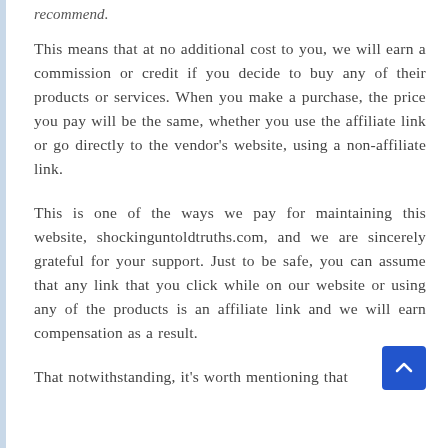recommend.
This means that at no additional cost to you, we will earn a commission or credit if you decide to buy any of their products or services. When you make a purchase, the price you pay will be the same, whether you use the affiliate link or go directly to the vendor’s website, using a non-affiliate link.
This is one of the ways we pay for maintaining this website, shockinguntoldtruths.com, and we are sincerely grateful for your support. Just to be safe, you can assume that any link that you click while on our website or using any of the products is an affiliate link and we will earn compensation as a result.
That notwithstanding, it’s worth mentioning that